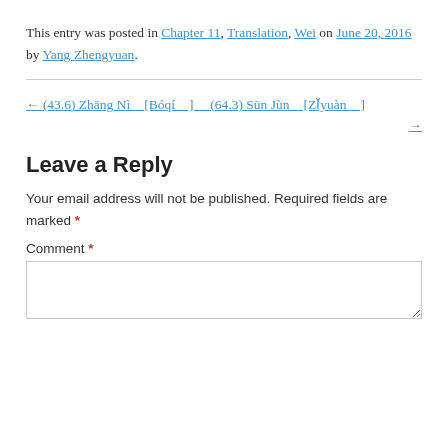This entry was posted in Chapter 11, Translation, Wei on June 20, 2016 by Yang Zhengyuan.
← (43.6) Zhāng Nì　[Bóqí　]　　(64.3) Sūn Jùn　[Zǐyuàn　] →
Leave a Reply
Your email address will not be published. Required fields are marked *
Comment *